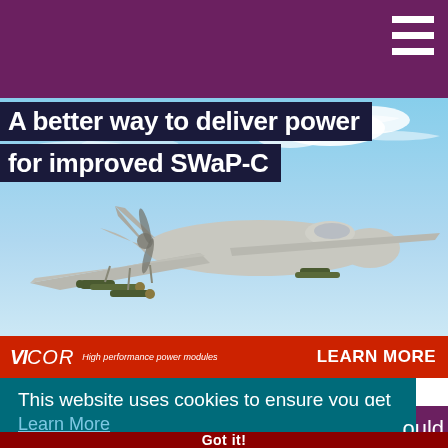[Figure (illustration): Purple top navigation bar with white hamburger menu icon (three horizontal lines) on the right side]
A better way to deliver power for improved SWaP-C
[Figure (photo): Military UAV drone (Predator-style) flying against a blue sky background, with weapons/payload visible underneath]
[Figure (logo): Vicor logo - 'VICOR High performance power modules' in white text on red bar, with 'LEARN MORE' call to action on the right]
This website uses cookies to ensure you get the best experience on our website.
Learn More
ould
Got it!